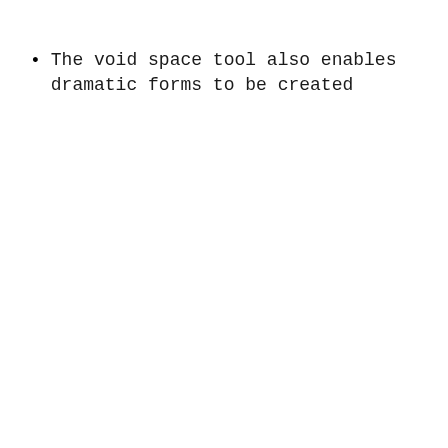The void space tool also enables dramatic forms to be created